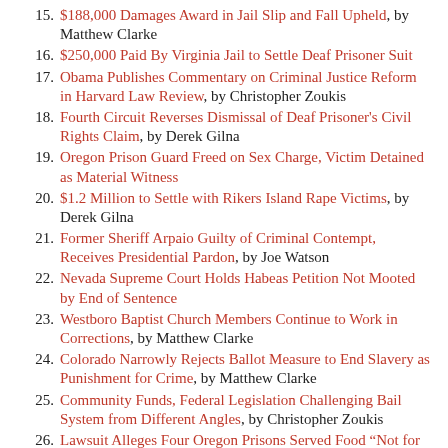15. $188,000 Damages Award in Jail Slip and Fall Upheld, by Matthew Clarke
16. $250,000 Paid By Virginia Jail to Settle Deaf Prisoner Suit
17. Obama Publishes Commentary on Criminal Justice Reform in Harvard Law Review, by Christopher Zoukis
18. Fourth Circuit Reverses Dismissal of Deaf Prisoner's Civil Rights Claim, by Derek Gilna
19. Oregon Prison Guard Freed on Sex Charge, Victim Detained as Material Witness
20. $1.2 Million to Settle with Rikers Island Rape Victims, by Derek Gilna
21. Former Sheriff Arpaio Guilty of Criminal Contempt, Receives Presidential Pardon, by Joe Watson
22. Nevada Supreme Court Holds Habeas Petition Not Mooted by End of Sentence
23. Westboro Baptist Church Members Continue to Work in Corrections, by Matthew Clarke
24. Colorado Narrowly Rejects Ballot Measure to End Slavery as Punishment for Crime, by Matthew Clarke
25. Community Funds, Federal Legislation Challenging Bail System from Different Angles, by Christopher Zoukis
26. Lawsuit Alleges Four Oregon Prisons Served Food “Not for Human Consumption”, by Monte McCoin